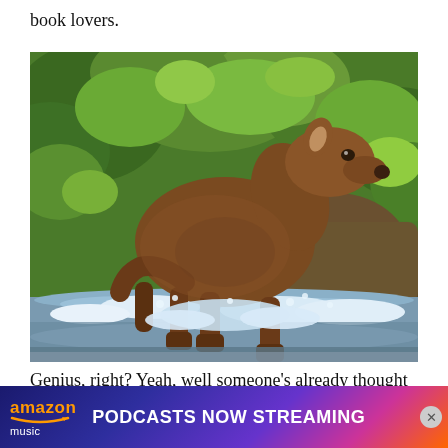book lovers.
[Figure (photo): A young moose calf running through shallow water with green foliage in the background, water splashing around its legs.]
Genius, right? Yeah, well someone's already thought of it, and it's called Read Salem ... as you'd e... mount
[Figure (other): Amazon Music advertisement banner: 'PODCASTS NOW STREAMING' with Amazon Music logo on a colorful gradient background (blue to purple to orange). Has a close (X) button.]